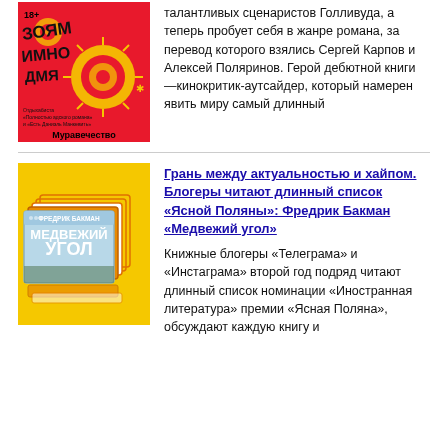[Figure (illustration): Book cover: red background with black hand-drawn text and yellow spiral patterns. Title 'Муравечество'. Age rating 18+ visible top left.]
талантливых сценаристов Голливуда, а теперь пробует себя в жанре романа, за перевод которого взялись Сергей Карпов и Алексей Поляринов. Герой дебютной книги —кинокритик-аутсайдер, который намерен явить миру самый длинный
[Figure (illustration): Book cover: yellow background with stacked browser-window styled frames containing 'Медвежий угол' by Фредрик Бакман. Multiple overlapping frames in orange/white.]
Грань между актуальностью и хайпом. Блогеры читают длинный список «Ясной Поляны»: Фредрик Бакман «Медвежий угол»
Книжные блогеры «Телеграма» и «Инстаграма» второй год подряд читают длинный список номинации «Иностранная литература» премии «Ясная Поляна», обсуждают каждую книгу и